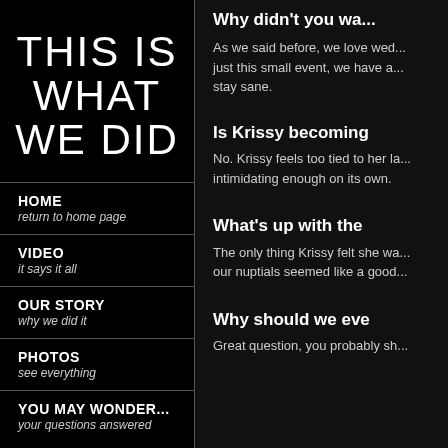THIS IS WHAT WE DID
HOME
return to home page
VIDEO
it says it all
OUR STORY
why we did it
PHOTOS
see everything
YOU MAY WONDER...
your questions answered
Why didn't you wa...
As we said before, we love wed... just this small event, we have a... stay sane.
Is Krissy becoming
No. Krissy feels too tied to her la... intimidating enough on its own.
What's up with the
The only thing Krissy felt she wa... our nuptials seemed like a good...
Why should we eve
Great question, you probably sh...